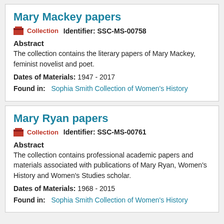Mary Mackey papers
Collection   Identifier: SSC-MS-00758
Abstract
The collection contains the literary papers of Mary Mackey, feminist novelist and poet.
Dates of Materials: 1947 - 2017
Found in:   Sophia Smith Collection of Women's History
Mary Ryan papers
Collection   Identifier: SSC-MS-00761
Abstract
The collection contains professional academic papers and materials associated with publications of Mary Ryan, Women's History and Women's Studies scholar.
Dates of Materials: 1968 - 2015
Found in:   Sophia Smith Collection of Women's History